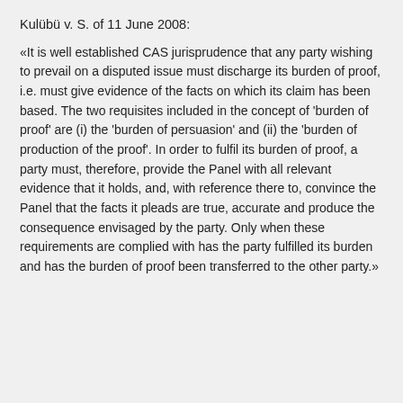Kulübü v. S. of 11 June 2008:
«It is well established CAS jurisprudence that any party wishing to prevail on a disputed issue must discharge its burden of proof, i.e. must give evidence of the facts on which its claim has been based. The two requisites included in the concept of 'burden of proof' are (i) the 'burden of persuasion' and (ii) the 'burden of production of the proof'. In order to fulfil its burden of proof, a party must, therefore, provide the Panel with all relevant evidence that it holds, and, with reference there to, convince the Panel that the facts it pleads are true, accurate and produce the consequence envisaged by the party. Only when these requirements are complied with has the party fulfilled its burden and has the burden of proof been transferred to the other party.»